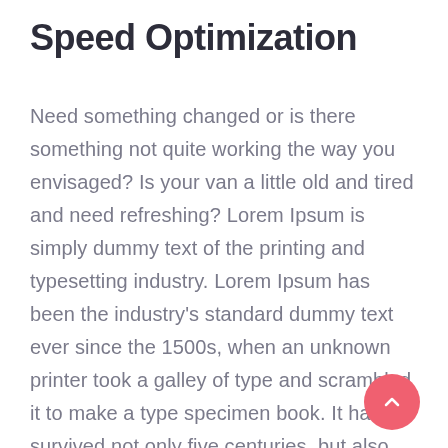Speed Optimization
Need something changed or is there something not quite working the way you envisaged? Is your van a little old and tired and need refreshing? Lorem Ipsum is simply dummy text of the printing and typesetting industry. Lorem Ipsum has been the industry's standard dummy text ever since the 1500s, when an unknown printer took a galley of type and scrambled it to make a type specimen book. It has survived not only five centuries, but also the leap into electronic.